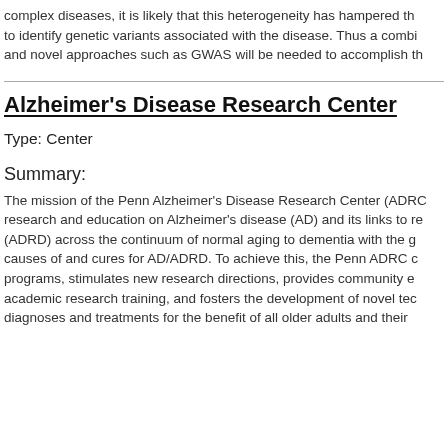complex diseases, it is likely that this heterogeneity has hampered the efforts to identify genetic variants associated with the disease. Thus a combination and novel approaches such as GWAS will be needed to accomplish this.
Alzheimer's Disease Research Center
Type: Center
Summary:
The mission of the Penn Alzheimer's Disease Research Center (ADRC) is research and education on Alzheimer's disease (AD) and its links to related (ADRD) across the continuum of normal aging to dementia with the goal of causes of and cures for AD/ADRD. To achieve this, the Penn ADRC coordinates programs, stimulates new research directions, provides community education, academic research training, and fosters the development of novel technologies, diagnoses and treatments for the benefit of all older adults and their families.